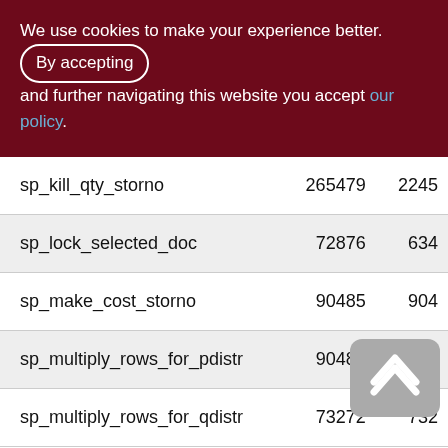We use cookies to make your experience better. By accepting and further navigating this website you accept our policy.
| Name | Col1 | Col2 |
| --- | --- | --- |
| sp_kill_qty_storno | 265479 | 2245 |
| sp_lock_selected_doc | 72876 | 634 |
| sp_make_cost_storno | 90485 | 904 |
| sp_multiply_rows_for_pdistr | 90485 | 904 |
| sp_multiply_rows_for_qdistr | 73272 | 732 |